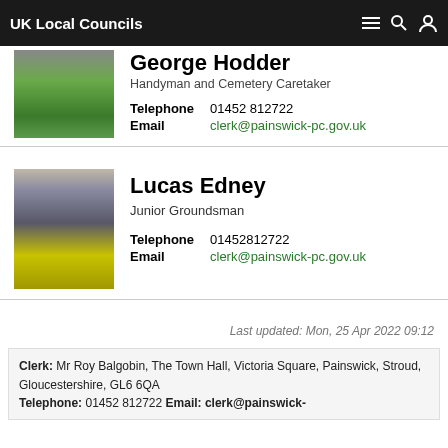UK Local Councils
George Hodder
Handyman and Cemetery Caretaker
Telephone  01452 812722
Email  clerk@painswick-pc.gov.uk
[Figure (photo): Photo of George Hodder, man in green shirt]
[Figure (photo): Photo of Lucas Edney, young man in high-vis yellow vest]
Lucas Edney
Junior Groundsman
Telephone  01452812722
Email  clerk@painswick-pc.gov.uk
Last updated: Mon, 25 Apr 2022 09:12
Clerk: Mr Roy Balgobin, The Town Hall, Victoria Square, Painswick, Stroud, Gloucestershire, GL6 6QA
Telephone: 01452 812722 Email: clerk@painswick-